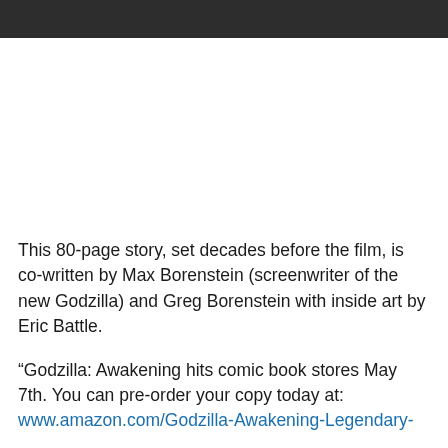This 80-page story, set decades before the film, is co-written by Max Borenstein (screenwriter of the new Godzilla) and Greg Borenstein with inside art by Eric Battle.
“Godzilla: Awakening hits comic book stores May 7th. You can pre-order your copy today at: www.amazon.com/Godzilla-Awakening-Legendary-